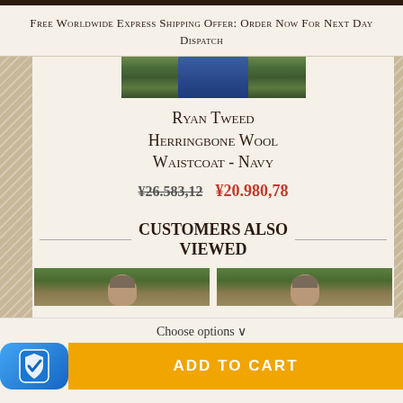Free Worldwide Express Shipping Offer: Order Now For Next Day Dispatch
[Figure (photo): Bottom portion of product photo showing a person wearing navy herringbone wool waistcoat with jeans, outdoor background]
Ryan Tweed Herringbone Wool Waistcoat - Navy
¥26.583,12  ¥20.980,78
CUSTOMERS ALSO VIEWED
[Figure (photo): Left product thumbnail showing a man wearing a tweed jacket outdoors]
[Figure (photo): Right product thumbnail showing a man wearing a tweed jacket outdoors]
Choose options ∨
ADD TO CART